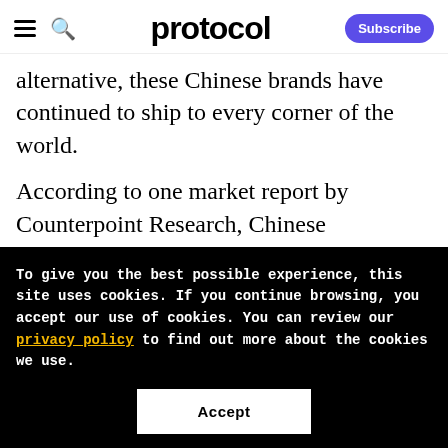protocol — Subscribe
alternative, these Chinese brands have continued to ship to every corner of the world.
According to one market report by Counterpoint Research, Chinese smartphone brand Xiaomi briefly became the world's best-selling smartphone brand in June, marking its highest international status ever. It is selling like crazy in
To give you the best possible experience, this site uses cookies. If you continue browsing, you accept our use of cookies. You can review our privacy policy to find out more about the cookies we use.
Accept